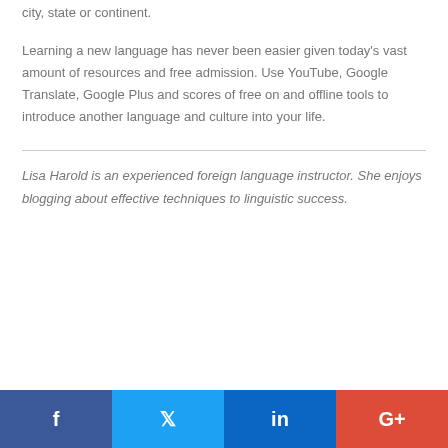city, state or continent.
Learning a new language has never been easier given today's vast amount of resources and free admission. Use YouTube, Google Translate, Google Plus and scores of free on and offline tools to introduce another language and culture into your life.
Lisa Harold is an experienced foreign language instructor. She enjoys blogging about effective techniques to linguistic success.